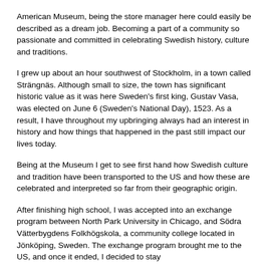American Museum, being the store manager here could easily be described as a dream job. Becoming a part of a community so passionate and committed in celebrating Swedish history, culture and traditions.
I grew up about an hour southwest of Stockholm, in a town called Strängnäs. Although small to size, the town has significant historic value as it was here Sweden's first king, Gustav Vasa, was elected on June 6 (Sweden's National Day), 1523. As a result, I have throughout my upbringing always had an interest in history and how things that happened in the past still impact our lives today.
Being at the Museum I get to see first hand how Swedish culture and tradition have been transported to the US and how these are celebrated and interpreted so far from their geographic origin.
After finishing high school, I was accepted into an exchange program between North Park University in Chicago, and Södra Vätterbygdens Folkhögskola, a community college located in Jönköping, Sweden. The exchange program brought me to the US, and once it ended, I decided to stay